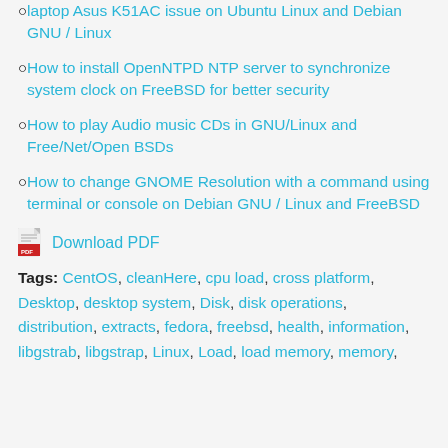laptop Asus K51AC issue on Ubuntu Linux and Debian GNU / Linux
How to install OpenNTPD NTP server to synchronize system clock on FreeBSD for better security
How to play Audio music CDs in GNU/Linux and Free/Net/Open BSDs
How to change GNOME Resolution with a command using terminal or console on Debian GNU / Linux and FreeBSD
[Figure (other): PDF download icon (red Adobe PDF icon) with a Download PDF link next to it]
Tags: CentOS, cleanHere, cpu load, cross platform, Desktop, desktop system, Disk, disk operations, distribution, extracts, fedora, freebsd, health, information, libgstrab, libgstrap, Linux, Load, load memory, memory,